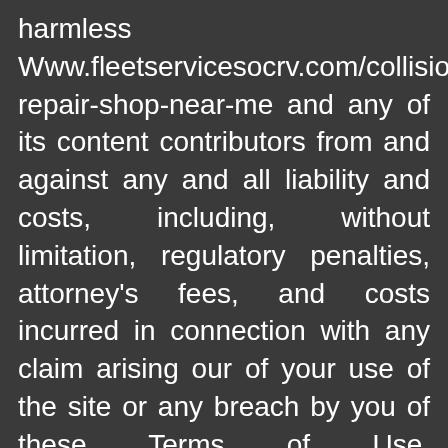harmless Www.fleetservicesocrv.com/collision-repair-shop-near-me and any of its content contributors from and against any and all liability and costs, including, without limitation, regulatory penalties, attorney's fees, and costs incurred in connection with any claim arising our of your use of the site or any breach by you of these Terms of Use. Www.fleetservicesocrv.com/collision-repair-shop-near-me shall not be liable for any direct, indirect, incidental, special, or consequential damages arising out of the use or